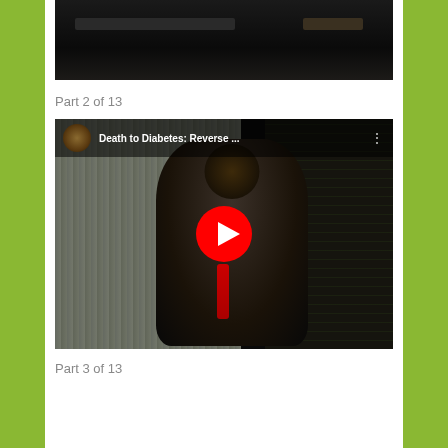[Figure (screenshot): Top portion of a YouTube video thumbnail showing a dark indoor scene, partially visible at the top of the page]
Part 2 of 13
[Figure (screenshot): YouTube video thumbnail for 'Death to Diabetes: Reverse ...' showing a person in a dark suit standing at a podium in front of curtains and a patterned wall, with a red YouTube play button overlay and channel avatar in the top-left corner]
Part 3 of 13